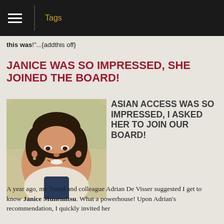Tags
this was!"...{addthis off}
JANICE WAS SO IMPRESSED, SHE JOINED THE BOARD!
[Figure (photo): Portrait photo of Janice Munemitsu, a woman with dark curly hair, smiling, wearing a white cardigan over a dark top]
ASIAN ACCESS WAS SO IMPRESSED, I ASKED HER TO JOIN OUR BOARD!
A year ago, my friend and colleague Adrian De Visser suggested I get to know Janice Munemitsu. What a powerhouse! Upon Adrian's recommendation, I quickly invited her